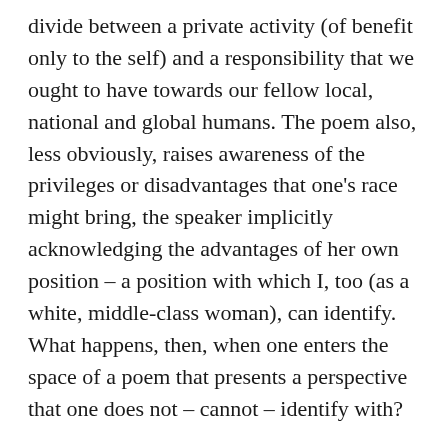divide between a private activity (of benefit only to the self) and a responsibility that we ought to have towards our fellow local, national and global humans. The poem also, less obviously, raises awareness of the privileges or disadvantages that one's race might bring, the speaker implicitly acknowledging the advantages of her own position – a position with which I, too (as a white, middle-class woman), can identify. What happens, then, when one enters the space of a poem that presents a perspective that one does not – cannot – identify with?
The implication of Hirshfield's poem, that we ought to exercise our responsibilities towards one another more regularly (in effect, refuting the self-focused engagements of a neoliberal society), seems especially urgent in the wake of the Black Lives Matter movement. The movement